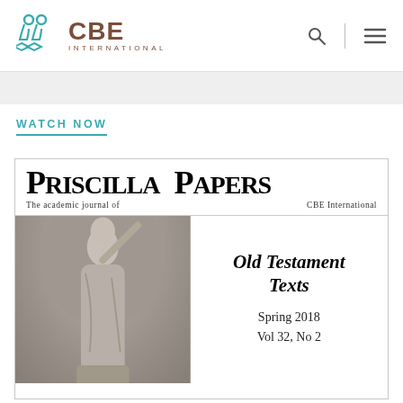CBE International
WATCH NOW
[Figure (screenshot): Priscilla Papers journal cover — Spring 2018, Vol 32, No 2, Old Testament Texts. Shows a classical statue of a robed woman on the left half, with the journal title 'Priscilla Papers: The academic journal of CBE International' at the top and issue details on the right.]